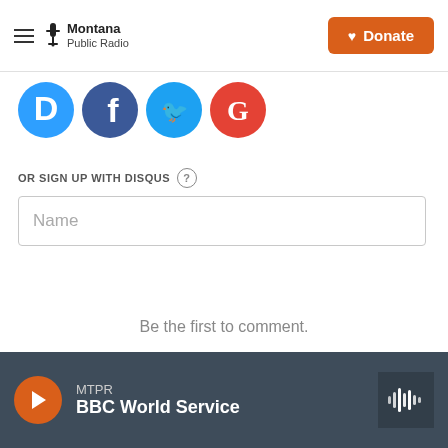Montana Public Radio | Donate
[Figure (logo): Social login icons: Disqus (blue D), Facebook (blue f), Twitter (blue bird), Google (red G)]
OR SIGN UP WITH DISQUS
Name
Be the first to comment.
Subscribe  Add Disqus  Do Not Sell My Data  DISQUS
MTPR BBC World Service